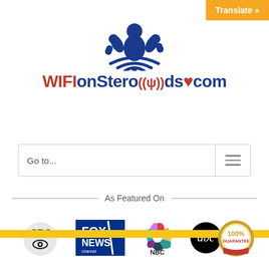Translate »
[Figure (logo): WIFIonSteroids.com website logo with muscular figure holding wifi symbol above the text WIFIonSteroids.com]
Go to...
As Featured On
[Figure (logo): Four media logos: CBS, Fox News Channel, NBC, ABC News]